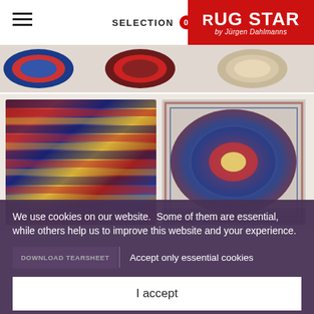SELECTION 0 | RUG STAR by Jürgen Dahlmanns
[Figure (photo): Row of decorative rugs in hexagonal/octagonal shapes in various colours including blue, red, multicolour]
[Figure (photo): Two rug product photos: left showing stacked colourful rugs edge-on, right showing a flat laid ornate rug with blue, red and yellow patterns]
We use cookies on our website. Some of them are essential, while others help us to improve this website and your experience.
DOWNLOAD TEARSHEET | Accept only essential cookies
I accept
Individual Privacy Preferences
Technics   Persian weave
Material   Silk
Surface   One level pile